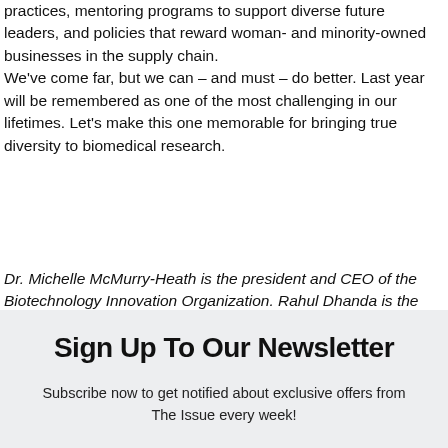practices, mentoring programs to support diverse future leaders, and policies that reward woman- and minority-owned businesses in the supply chain. We've come far, but we can – and must – do better. Last year will be remembered as one of the most challenging in our lifetimes. Let's make this one memorable for bringing true diversity to biomedical research.
Dr. Michelle McMurry-Heath is the president and CEO of the Biotechnology Innovation Organization. Rahul Dhanda is the president and CEO of Sherlock Biosciences.
Sign Up To Our Newsletter
Subscribe now to get notified about exclusive offers from The Issue every week!